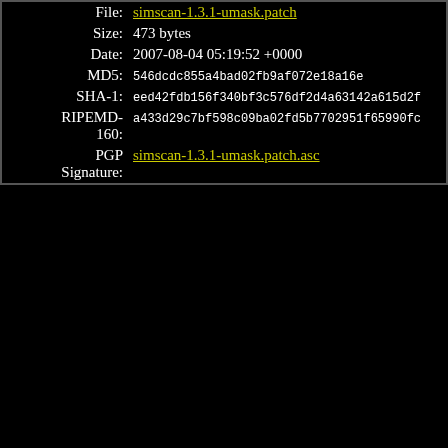| Field | Value |
| --- | --- |
| File: | simscan-1.3.1-umask.patch |
| Size: | 473 bytes |
| Date: | 2007-08-04 05:19:52 +0000 |
| MD5: | 546dcdc855a4bad02fb9af072e18a16e |
| SHA-1: | eed42fdb156f340bf3c576df2d4a63142a615d2f |
| RIPEMD-160: | a433d29c7bf598c09ba02fd5b7702951f65990fc |
| PGP Signature: | simscan-1.3.1-umask.patch.asc |
debug patch
Here's a quick patch which implements the debugging messages I mentioned above. The changes are:
Setting SIMSCAN_DEBUG=3 will show the actual text returned from clamdscan.
Setting SIMSCAN_DEBUG_FILES=1 will bypass deleting the work directory (within /var/qmail/simscan) if there was an error with clamav.
Setting SIMSCAN_DEBUG_FILES=2 will always bypass...